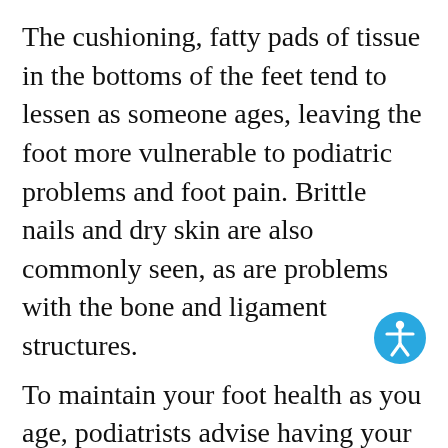The cushioning, fatty pads of tissue in the bottoms of the feet tend to lessen as someone ages, leaving the foot more vulnerable to podiatric problems and foot pain. Brittle nails and dry skin are also commonly seen, as are problems with the bone and ligament structures.
To maintain your foot health as you age, podiatrists advise having your feet measured regularly to help ensure that you are wearing properly fitting and supportive footwear. Also, choose shoes that have a firm sole and soft upper, and shop for